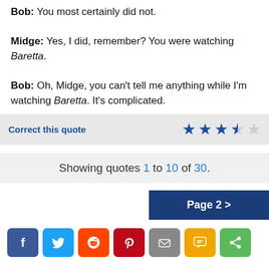Bob: You most certainly did not. Midge: Yes, I did, remember? You were watching Baretta. Bob: Oh, Midge, you can't tell me anything while I'm watching Baretta. It's complicated.
Correct this quote
Showing quotes 1 to 10 of 30.
Page 2 >
[Figure (other): Social share buttons: Facebook, Twitter, Reddit, Pinterest, Email, SMS, Share]